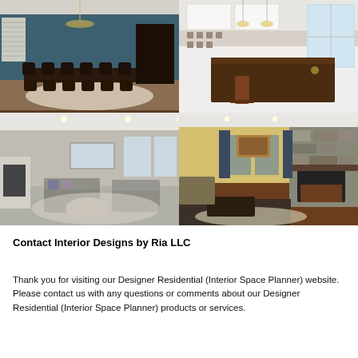[Figure (photo): Dining room with long dark wood table, ornate chairs, teal walls, chandelier, and large area rug]
[Figure (photo): Modern white kitchen with large dark wood island countertop, hanging pendant lights, and bar stools]
[Figure (photo): Living room with gray sofas, round ottoman, fireplace, and neutral tones]
[Figure (photo): Living room with yellow walls, dark furniture, stone fireplace, and patterned area rug]
Contact Interior Designs by Ria LLC
Thank you for visiting our Designer Residential (Interior Space Planner) website. Please contact us with any questions or comments about our Designer Residential (Interior Space Planner) products or services.